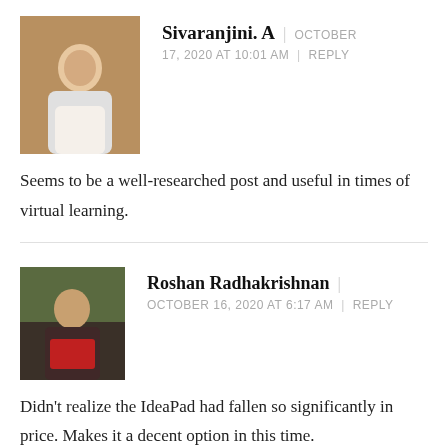[Figure (photo): Profile photo of Sivaranjini A, a woman in white clothing]
Sivaranjini. A | OCTOBER 17, 2020 AT 10:01 AM | REPLY
Seems to be a well-researched post and useful in times of virtual learning.
[Figure (photo): Profile photo of Roshan Radhakrishnan, a man sitting with a book]
Roshan Radhakrishnan | OCTOBER 16, 2020 AT 6:17 AM | REPLY
Didn't realize the IdeaPad had fallen so significantly in price. Makes it a decent option in this time.